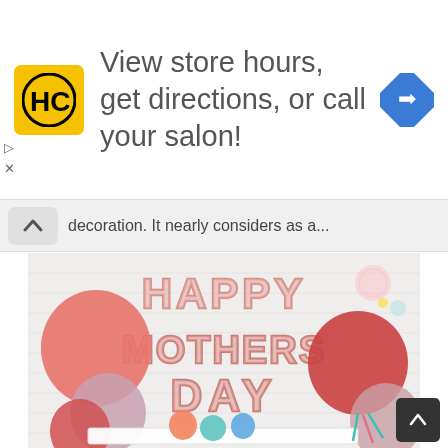[Figure (logo): HC (Hair Club) yellow square logo with black H and C letters]
View store hours, get directions, or call your salon!
[Figure (other): Blue diamond navigation arrow icon]
decoration. It nearly considers as a...
[Figure (photo): Happy Mother's Day balloon letter decorations on white brick wall with colorful balloons]